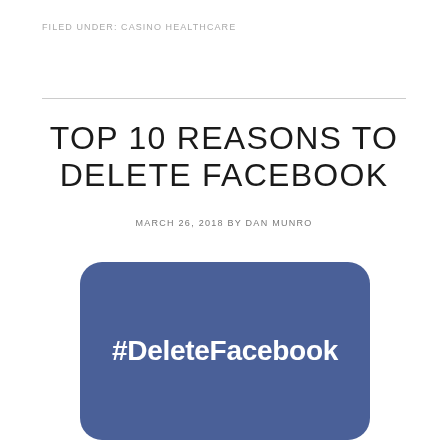FILED UNDER: CASINO HEALTHCARE
TOP 10 REASONS TO DELETE FACEBOOK
MARCH 26, 2018 BY DAN MUNRO
[Figure (illustration): Blue rounded rectangle card with white bold text '#DeleteFacebook' centered on it, resembling a Facebook-branded social media graphic.]